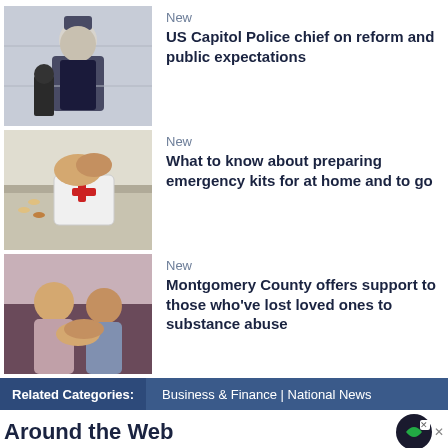[Figure (photo): US Capitol Police chief speaking at a podium, wearing uniform, with masked officer visible behind]
New
US Capitol Police chief on reform and public expectations
[Figure (photo): Emergency kit being prepared on a kitchen counter with first aid supplies]
New
What to know about preparing emergency kits for at home and to go
[Figure (photo): Person holding hands with someone in a supportive gesture, substance abuse support context]
New
Montgomery County offers support to those who've lost loved ones to substance abuse
Related Categories: Business & Finance | National News
Around the Web
[Figure (infographic): Advertisement banner: JOIN US FOR A SPECIAL EVENT SEPTEMBER 13 - 15 CLOUD EXCHANGE]